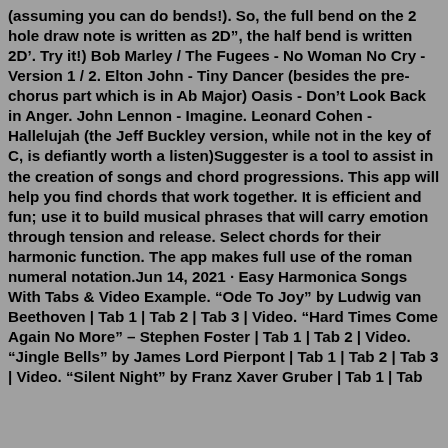(assuming you can do bends!). So, the full bend on the 2 hole draw note is written as 2D", the half bend is written 2D'. Try it!) Bob Marley / The Fugees - No Woman No Cry - Version 1 / 2. Elton John - Tiny Dancer (besides the pre-chorus part which is in Ab Major) Oasis - Don't Look Back in Anger. John Lennon - Imagine. Leonard Cohen - Hallelujah (the Jeff Buckley version, while not in the key of C, is defiantly worth a listen)Suggester is a tool to assist in the creation of songs and chord progressions. This app will help you find chords that work together. It is efficient and fun; use it to build musical phrases that will carry emotion through tension and release. Select chords for their harmonic function. The app makes full use of the roman numeral notation.Jun 14, 2021 · Easy Harmonica Songs With Tabs & Video Example. “Ode To Joy” by Ludwig van Beethoven | Tab 1 | Tab 2 | Tab 3 | Video. “Hard Times Come Again No More” – Stephen Foster | Tab 1 | Tab 2 | Video. “Jingle Bells” by James Lord Pierpont | Tab 1 | Tab 2 | Tab 3 | Video. “Silent Night” by Franz Xaver Gruber | Tab 1 | Tab...